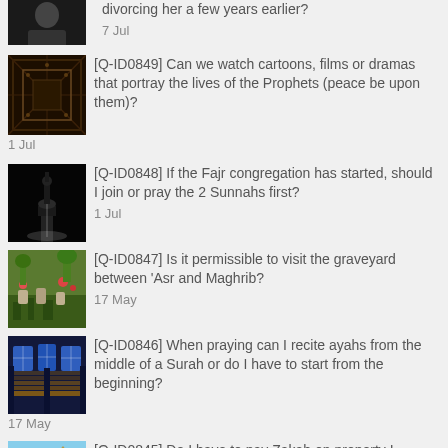divorcing her a few years earlier? — 7 Jul
[Q-ID0849] Can we watch cartoons, films or dramas that portray the lives of the Prophets (peace be upon them)? — 1 Jul
[Q-ID0848] If the Fajr congregation has started, should I join or pray the 2 Sunnahs first? — 1 Jul
[Q-ID0847] Is it permissible to visit the graveyard between 'Asr and Maghrib? — 17 May
[Q-ID0846] When praying can I recite ayahs from the middle of a Surah or do I have to start from the beginning? — 17 May
[Q-ID0845] Do I have to pay Zakah on property I...